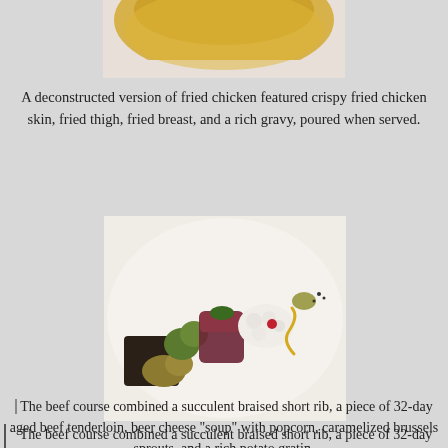[Figure (photo): Top portion of a food photo showing a golden/amber colored dish, partially visible at top of page]
A deconstructed version of fried chicken featured crispy fried chicken skin, fried thigh, fried breast, and a rich gravy, poured when served.
[Figure (photo): A fine dining beef course on a white plate featuring braised short rib, aged beef tenderloin, beer cheese, popcorn, caramelized brussels sprouts arranged artistically]
The beef course combined a succulent braised short rib, a piece of 32-day aged beef tenderloin, beer cheese "soup" with popcorn, caramelized brussels sprouts, and a rich potato gratin.